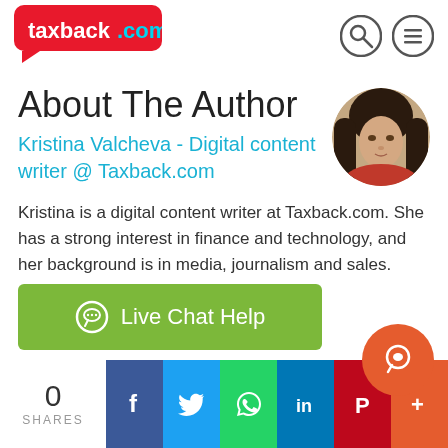[Figure (logo): taxback.com logo in red rounded speech bubble shape]
[Figure (other): Search and menu icons in header]
About The Author
Kristina Valcheva - Digital content writer @ Taxback.com
[Figure (photo): Circular portrait photo of Kristina Valcheva, a woman with dark hair]
Kristina is a digital content writer at Taxback.com. She has a strong interest in finance and technology, and her background is in media, journalism and sales.
[Figure (other): Green Live Chat Help button with chat bubble icon]
[Figure (other): Orange circular floating button with chat icon]
0
SHARES
[Figure (other): Social media share icons: Facebook, Twitter, WhatsApp, LinkedIn, Pinterest, More]